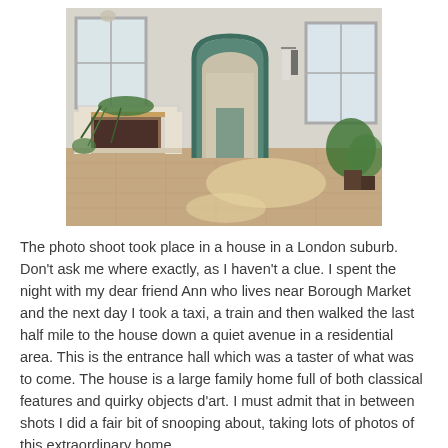[Figure (photo): Interior of a house entrance hall with white walls, a white fireplace mantel with trailing plants, a teal arched doorway leading to another room, tiled floor with sunlight patches, a large window on the right with potted plants, and hanging white garments.]
The photo shoot took place in a house in a London suburb. Don't ask me where exactly, as I haven't a clue. I spent the night with my dear friend Ann who lives near Borough Market and the next day I took a taxi, a train and then walked the last half mile to the house down a quiet avenue in a residential area. This is the entrance hall which was a taster of what was to come. The house is a large family home full of both classical features and quirky objects d'art. I must admit that in between shots I did a fair bit of snooping about, taking lots of photos of this extraordinary home.